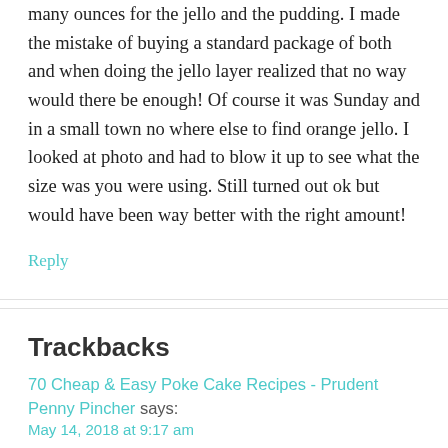many ounces for the jello and the pudding. I made the mistake of buying a standard package of both and when doing the jello layer realized that no way would there be enough! Of course it was Sunday and in a small town no where else to find orange jello. I looked at photo and had to blow it up to see what the size was you were using. Still turned out ok but would have been way better with the right amount!
Reply
Trackbacks
70 Cheap & Easy Poke Cake Recipes - Prudent Penny Pincher says:
May 14, 2018 at 9:17 am